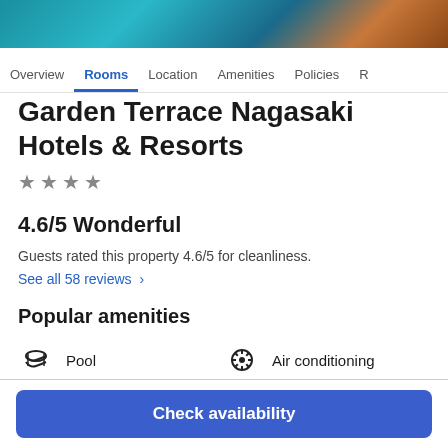[Figure (photo): Hotel hero image showing pool/resort aerial view with teal water and tropical landscape]
Overview | Rooms | Location | Amenities | Policies | R
Garden Terrace Nagasaki Hotels & Resorts
★ ★ ★ ★
4.6/5 Wonderful
Guests rated this property 4.6/5 for cleanliness.
See all 58 reviews ›
Popular amenities
Pool
Air conditioning
Free WiFi
Restaurant
Check availability